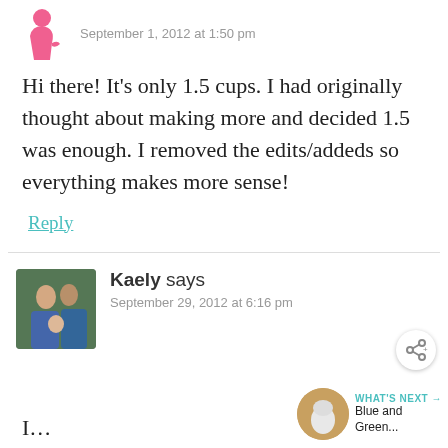[Figure (illustration): Pink avatar icon of a pregnant woman silhouette]
September 1, 2012 at 1:50 pm
Hi there! It's only 1.5 cups. I had originally thought about making more and decided 1.5 was enough. I removed the edits/addeds so everything makes more sense!
Reply
[Figure (photo): Family photo avatar showing a couple with a child outdoors]
Kaely says
September 29, 2012 at 6:16 pm
[Figure (photo): Share icon button]
[Figure (photo): Thumbnail of a blue and green drink with WHAT'S NEXT label]
I...